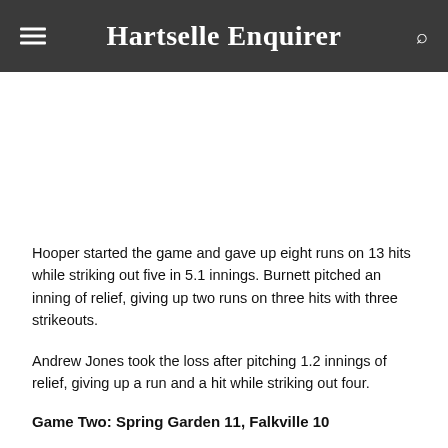Hartselle Enquirer
Hooper started the game and gave up eight runs on 13 hits while striking out five in 5.1 innings. Burnett pitched an inning of relief, giving up two runs on three hits with three strikeouts.
Andrew Jones took the loss after pitching 1.2 innings of relief, giving up a run and a hit while striking out four.
Game Two: Spring Garden 11, Falkville 10